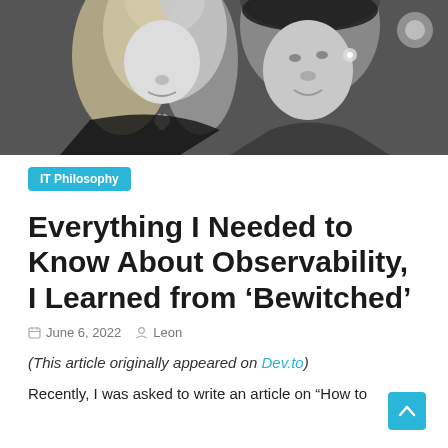[Figure (photo): Black and white close-up photograph of two women smiling, one wearing a black dress with a heart pendant, partial faces visible.]
IT Philosophy
Everything I Needed to Know About Observability, I Learned from ‘Bewitched’
June 6, 2022  Leon
(This article originally appeared on Dev.to)
Recently, I was asked to write an article on “How to